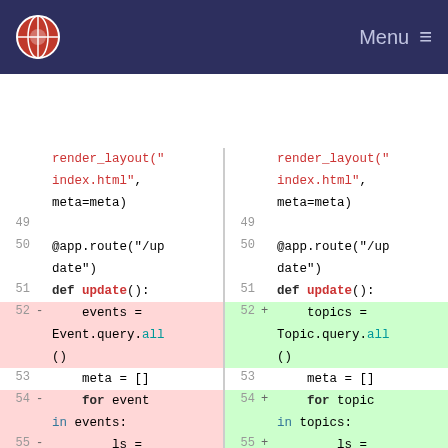Menu ≡
[Figure (screenshot): A side-by-side diff view of Python code showing changes from 'events/Event' to 'topics/Topic' variable names across lines 49-56. Left side shows removed lines (red background), right side shows added lines (green background). Code includes @app.route('/update'), def update(), event/topic queries, for loops, and speaker creation.]